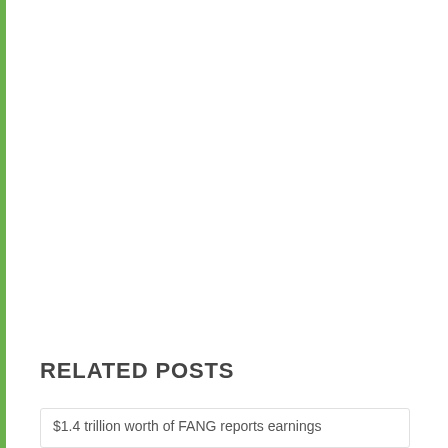RELATED POSTS
$1.4 trillion worth of FANG reports earnings